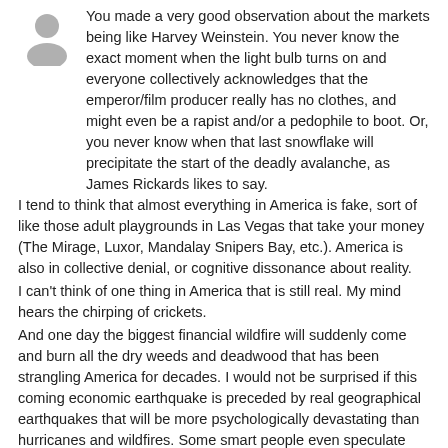[Figure (illustration): Gray silhouette avatar icon of a person]
You made a very good observation about the markets being like Harvey Weinstein. You never know the exact moment when the light bulb turns on and everyone collectively acknowledges that the emperor/film producer really has no clothes, and might even be a rapist and/or a pedophile to boot. Or, you never know when that last snowflake will precipitate the start of the deadly avalanche, as James Rickards likes to say. I tend to think that almost everything in America is fake, sort of like those adult playgrounds in Las Vegas that take your money (The Mirage, Luxor, Mandalay Snipers Bay, etc.). America is also in collective denial, or cognitive dissonance about reality. I can't think of one thing in America that is still real. My mind hears the chirping of crickets. And one day the biggest financial wildfire will suddenly come and burn all the dry weeds and deadwood that has been strangling America for decades. I would not be surprised if this coming economic earthquake is preceded by real geographical earthquakes that will be more psychologically devastating than hurricanes and wildfires. Some smart people even speculate that earthquakes can be actually manipulated and weaponized, and I would not be surprised.